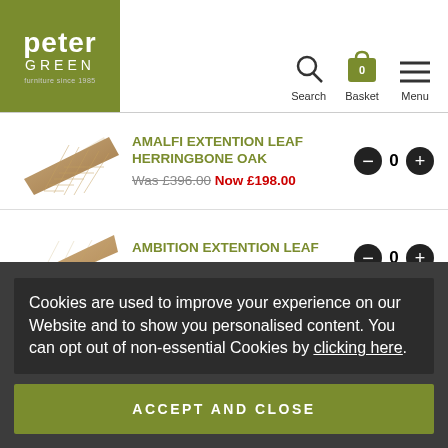[Figure (logo): Peter Green logo on olive/green background with text 'peter GREEN' and subtitle]
Search  Basket 0  Menu
AMALFI EXTENTION LEAF HERRINGBONE OAK  Was £396.00 Now £198.00
AMBITION EXTENTION LEAF  Was £446.00 Now £223.00
Cookies are used to improve your experience on our Website and to show you personalised content. You can opt out of non-essential Cookies by clicking here.
ACCEPT AND CLOSE